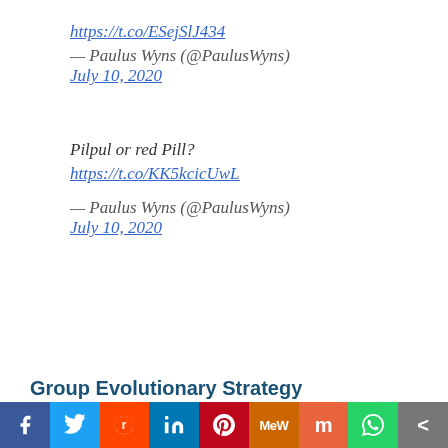https://t.co/ESejSlJ434
— Paulus Wyns (@PaulusWyns) July 10, 2020
Pilpul or red Pill? https://t.co/KK5kcicUwL
— Paulus Wyns (@PaulusWyns) July 10, 2020
Group Evolutionary Strategy
[Figure (infographic): Social media share bar with icons: Facebook, Twitter, Reddit, LinkedIn, Pinterest, MeWe, Mix, WhatsApp, Share]